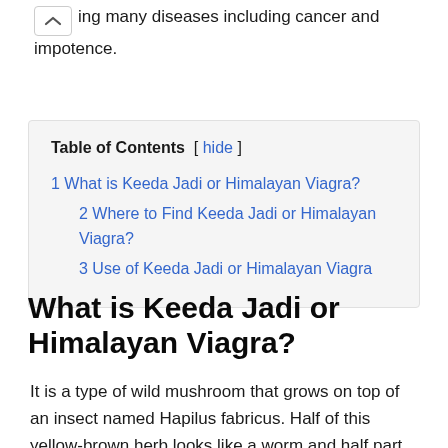ing many diseases including cancer and impotence.
1 What is Keeda Jadi or Himalayan Viagra?
2 Where to Find Keeda Jadi or Himalayan Viagra?
3 Use of Keeda Jadi or Himalayan Viagra
What is Keeda Jadi or Himalayan Viagra?
It is a type of wild mushroom that grows on top of an insect named Hapilus fabricus. Half of this yellow-brown herb looks like a worm and half part like a